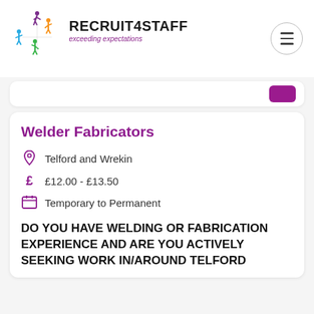[Figure (logo): Recruit4Staff logo with colourful star/people figures and text 'RECRUIT4STAFF exceeding expectations']
Welder Fabricators
Telford and Wrekin
£12.00 - £13.50
Temporary to Permanent
DO YOU HAVE WELDING OR FABRICATION EXPERIENCE AND ARE YOU ACTIVELY SEEKING WORK IN/AROUND TELFORD